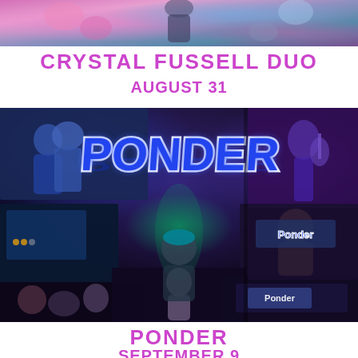[Figure (photo): Partial top photo of Crystal Fussell Duo performance, colorful flowers/lights background]
CRYSTAL FUSSELL DUO
AUGUST 31
[Figure (photo): Collage of Ponder band photos showing musicians performing, crowd scenes, and the Ponder logo prominently displayed in blue with white outline in the center]
PONDER
SEPTEMBER 9